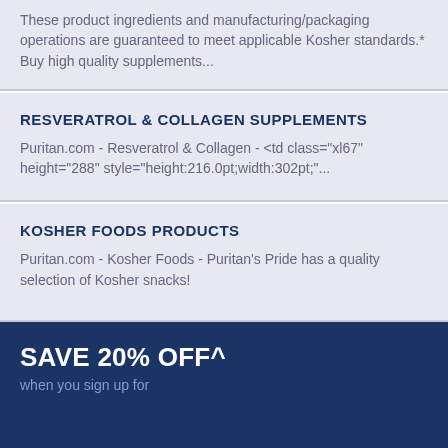These product ingredients and manufacturing/packaging operations are guaranteed to meet applicable Kosher standards.* Buy high quality supplements...
RESVERATROL & COLLAGEN SUPPLEMENTS
Puritan.com - Resveratrol & Collagen - <td class="xl67" height="288" style="height:216.0pt;width:302pt;"...
KOSHER FOODS PRODUCTS
Puritan.com - Kosher Foods - Puritan's Pride has a quality selection of Kosher snacks!
SAVE 20% OFF^
when you sign up for